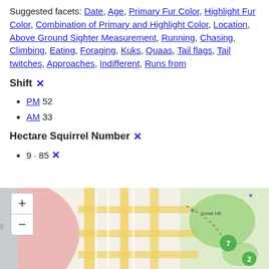Suggested facets: Date, Age, Primary Fur Color, Highlight Fur Color, Combination of Primary and Highlight Color, Location, Above Ground Sighter Measurement, Running, Chasing, Climbing, Eating, Foraging, Kuks, Quaas, Tail flags, Tail twitches, Approaches, Indifferent, Runs from
Shift ✕
PM 52
AM 33
Hectare Squirrel Number ✕
9 · 85 ✕
[Figure (map): Street map showing part of Central Park area in New York City, with zoom in (+) and zoom out (-) controls on the left. Green circular markers labeled 7 and 2 are visible. 'Great Hill' label appears on the map.]